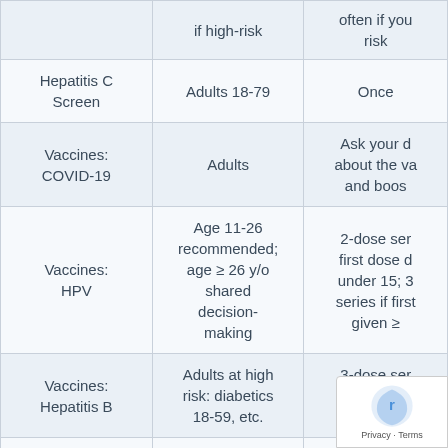|  | if high-risk | often if you risk |
| --- | --- | --- |
| Hepatitis C Screen | Adults 18-79 | Once |
| Vaccines: COVID-19 | Adults | Ask your d about the va and boos |
| Vaccines: HPV | Age 11-26 recommended; age ≥ 26 y/o shared decision-making | 2-dose ser first dose d under 15; 3 series if first given ≥ |
| Vaccines: Hepatitis B | Adults at high risk: diabetics 18-59, etc. | 3-dose ser you are at r |
| Vaccines: Influenza | Adults | Annual |